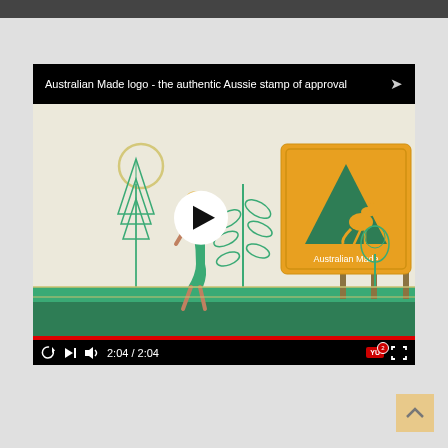[Figure (screenshot): Embedded YouTube video player screenshot showing 'Australian Made logo - the authentic Aussie stamp of approval'. The video thumbnail depicts an illustrated outdoor scene with a large yellow billboard displaying the Australian Made logo (green triangle with kangaroo silhouette) and text 'Australian Made'. A stylized female figure stands in the foreground amid illustrated trees. A video progress bar shows 2:04/2:04 (fully played). Video controls visible at bottom: replay, skip, volume, time display, YouTube badge, and fullscreen button.]
Australian Made logo - the authentic Aussie stamp of approval